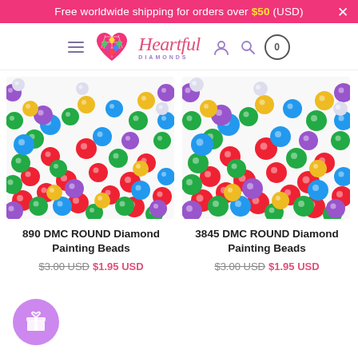Free worldwide shipping for orders over $50 (USD)
[Figure (logo): Heartful Diamonds logo with hamburger menu, user icon, search icon, and cart icon (0 items)]
[Figure (photo): Close-up of colorful round diamond painting beads (890 DMC) in red, green, blue, purple, yellow on white background]
[Figure (photo): Close-up of colorful round diamond painting beads (3845 DMC) in red, green, blue, purple, yellow on white background]
890 DMC ROUND Diamond Painting Beads
3845 DMC ROUND Diamond Painting Beads
$3.00 USD $1.95 USD
$3.00 USD $1.95 USD